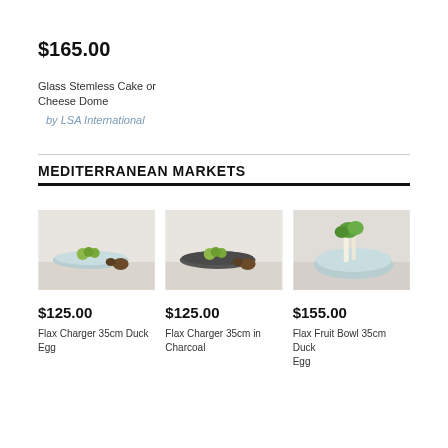$165.00
Glass Stemless Cake or Cheese Dome
by LSA International
MEDITERRANEAN MARKETS
[Figure (photo): Flax Charger 35cm Duck Egg plate with green fruits and kiwi on grey surface]
$125.00
Flax Charger 35cm Duck Egg
[Figure (photo): Flax Charger 35cm in Charcoal dark plate with green fruits and kiwi]
$125.00
Flax Charger 35cm in Charcoal
[Figure (photo): Flax Fruit Bowl 35cm Duck Egg light blue bowl with vegetables]
$155.00
Flax Fruit Bowl 35cm Duck Egg